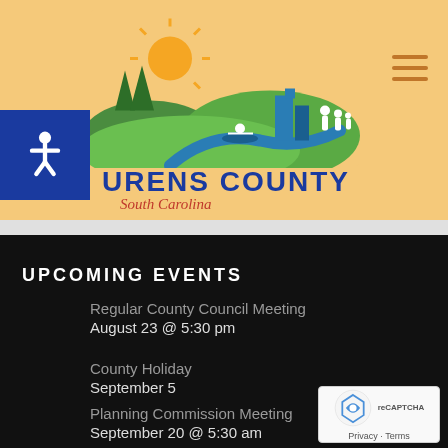[Figure (logo): Laurens County, South Carolina logo with sun, trees, kayaker, buildings, and family silhouette on green hills]
LAURENS COUNTY South Carolina
UPCOMING EVENTS
Regular County Council Meeting
August 23 @ 5:30 pm
County Holiday
September 5
Planning Commission Meeting
September 20 @ 5:30 am